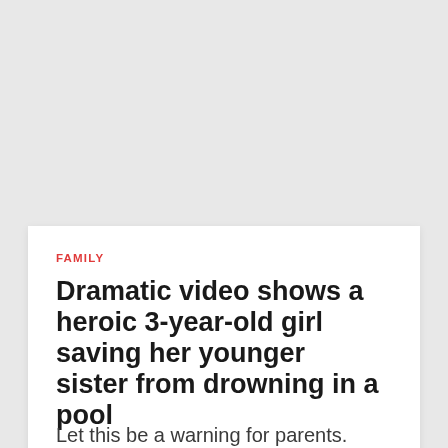FAMILY
Dramatic video shows a heroic 3-year-old girl saving her younger sister from drowning in a pool
Let this be a warning for parents.